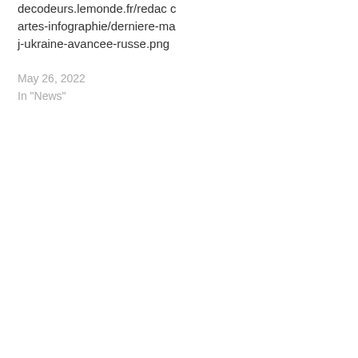decodeurs.lemonde.fr/redac cartes-infographie/derniere-maj-ukraine-avancee-russe.png
May 26, 2022
In "News"